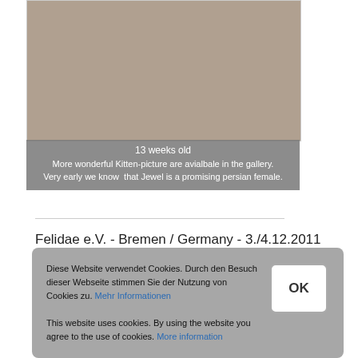[Figure (photo): Photo of a kitten, partially visible at top of image area]
13 weeks old
More wonderful Kitten-picture are avialbale in the gallery.
Very early we know  that Jewel is a promising persian female.
Felidae e.V. - Bremen / Germany - 3./4.12.2011
Diese Website verwendet Cookies. Durch den Besuch dieser Webseite stimmen Sie der Nutzung von Cookies zu. Mehr Informationen
This website uses cookies. By using the website you agree to the use of cookies. More information